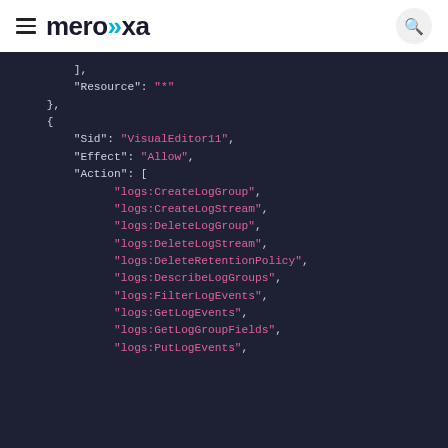meroxa
[Figure (screenshot): JSON code block on dark background showing AWS IAM policy with Sid VisualEditor11, Effect Allow, and Action array with logs permissions including CreateLogGroup, CreateLogStream, DeleteLogGroup, DeleteLogStream, DeleteRetentionPolicy, DescribeLogGroups, FilterLogEvents, GetLogEvents, GetLogGroupFields, PutLogEvents]